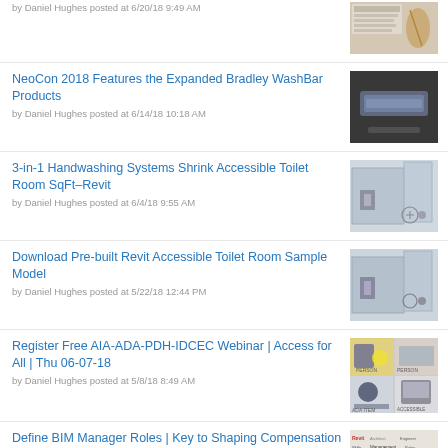by Daniel Hughes posted at 6/20/18 9:49 AM
NeoCon 2018 Features the Expanded Bradley WashBar Products
by Daniel Hughes posted at 6/14/18 10:18 AM
3-in-1 Handwashing Systems Shrink Accessible Toilet Room SqFt–Revit
by Daniel Hughes posted at 6/4/18 9:55 AM
Download Pre-built Revit Accessible Toilet Room Sample Model
by Daniel Hughes posted at 5/22/18 12:44 PM
Register Free AIA-ADA-PDH-IDCEC Webinar | Access for All | Thu 06-07-18
by Daniel Hughes posted at 5/8/18 8:49 AM
Define BIM Manager Roles | Key to Shaping Compensation Programs
by Daniel Hughes posted at 3/13/18 11:00 PM